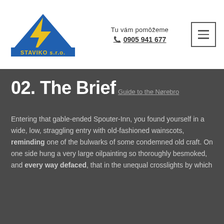[Figure (logo): STAVIKO s.r.o. logo with blue mountain/roof shape and yellow lightning bolt]
Tu vám pomôžeme
☎ 0905 941 677
[Figure (other): Hamburger menu icon button with three horizontal lines]
02. The Brief
Guide to the Nørebro
Entering that gable-ended Spouter-Inn, you found yourself in a wide, low, straggling entry with old-fashioned wainscots, reminding one of the bulwarks of some condemned old craft. On one side hung a very large oilpainting so thoroughly besmoked, and every way defaced, that in the unequal crosslights by which